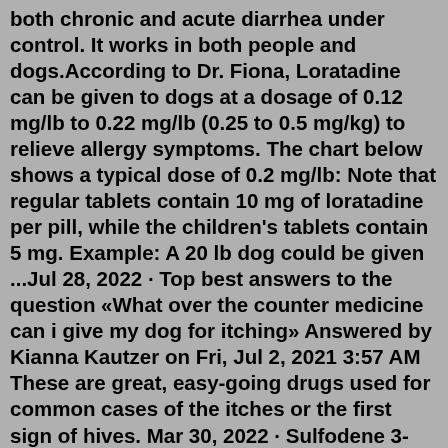both chronic and acute diarrhea under control. It works in both people and dogs.According to Dr. Fiona, Loratadine can be given to dogs at a dosage of 0.12 mg/lb to 0.22 mg/lb (0.25 to 0.5 mg/kg) to relieve allergy symptoms. The chart below shows a typical dose of 0.2 mg/lb: Note that regular tablets contain 10 mg of loratadine per pill, while the children's tablets contain 5 mg. Example: A 20 lb dog could be given ...Jul 28, 2022 · Top best answers to the question «What over the counter medicine can i give my dog for itching» Answered by Kianna Kautzer on Fri, Jul 2, 2021 3:57 AM These are great, easy-going drugs used for common cases of the itches or the first sign of hives. Mar 30, 2022 · Sulfodene 3-Way Ointment for Dogs Check Price on Chewy Check Price on Amazon Sulfodene 3-Way Ointment helps relieve itchiness caused by hot spots, allergies, and other skin irritations. It also can be used for wound care, pain relief, and help heal bacterial and fungal infections. Pros Multiple uses Ointment formula to protect skin Cons Oct 14, 2019 · Up to 50/50 rule of helping dogs...